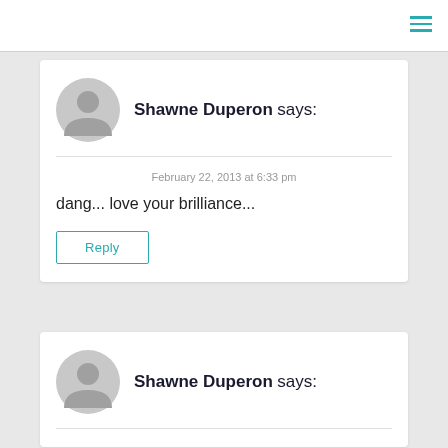Shawne Duperon says:
February 22, 2013 at 6:33 pm
dang... love your brilliance...
Reply
Shawne Duperon says: